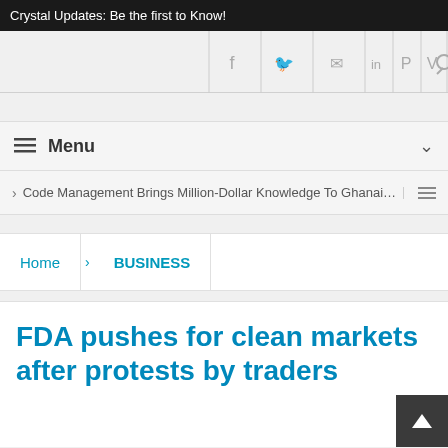Crystal Updates: Be the first to Know!
[Figure (screenshot): Social media icon navigation bar with icons for Facebook, Twitter, email, LinkedIn, Pinterest, Vimeo, and search]
Menu
> Code Management Brings Million-Dollar Knowledge To Ghanaian
Home > BUSINESS
FDA pushes for clean markets after protests by traders